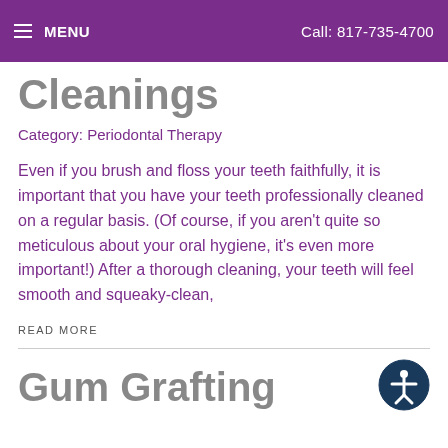≡ MENU   Call: 817-735-4700
Cleanings
Category: Periodontal Therapy
Even if you brush and floss your teeth faithfully, it is important that you have your teeth professionally cleaned on a regular basis. (Of course, if you aren't quite so meticulous about your oral hygiene, it's even more important!) After a thorough cleaning, your teeth will feel smooth and squeaky-clean,
READ MORE
Gum Grafting